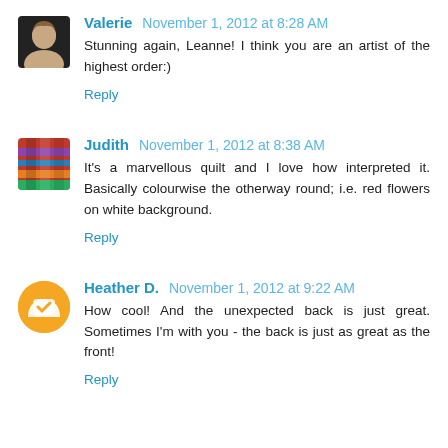Valerie November 1, 2012 at 8:28 AM
Stunning again, Leanne! I think you are an artist of the highest order:)
Reply
Judith November 1, 2012 at 8:38 AM
It's a marvellous quilt and I love how interpreted it. Basically colourwise the otherway round; i.e. red flowers on white background.
Reply
Heather D. November 1, 2012 at 9:22 AM
How cool! And the unexpected back is just great. Sometimes I'm with you - the back is just as great as the front!
Reply